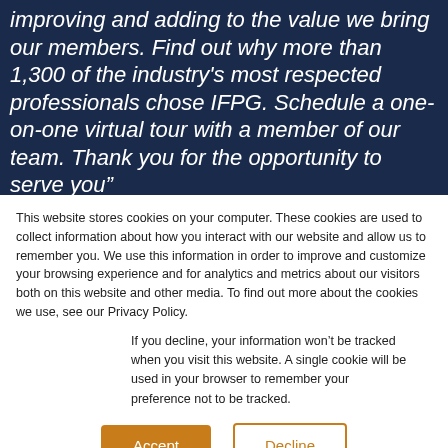improving and adding to the value we bring our members. Find out why more than 1,300 of the industry's most respected professionals chose IFPG. Schedule a one-on-one virtual tour with a member of our team. Thank you for the opportunity to serve you”
This website stores cookies on your computer. These cookies are used to collect information about how you interact with our website and allow us to remember you. We use this information in order to improve and customize your browsing experience and for analytics and metrics about our visitors both on this website and other media. To find out more about the cookies we use, see our Privacy Policy.
If you decline, your information won’t be tracked when you visit this website. A single cookie will be used in your browser to remember your preference not to be tracked.
Accept
Decline